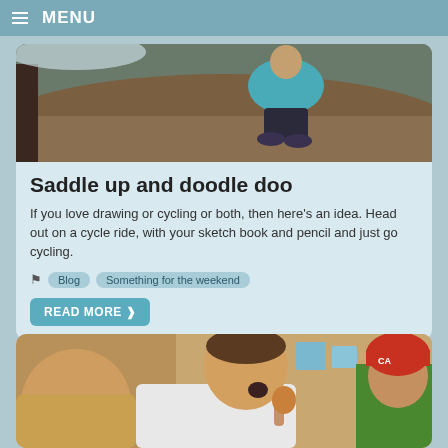MENU
[Figure (photo): Person in teal jacket crouching on a hillside with dry brown grass, outdoors winter/spring scene]
Saddle up and doodle doo
If you love drawing or cycling or both, then here's an idea. Head out on a cycle ride, with your sketch book and pencil and just go cycling.
Blog  Something for the weekend
READ MORE
[Figure (photo): Man balancing a wooden egg on his finger, with a child in a red knit hat looking on, indoors in a campervan]